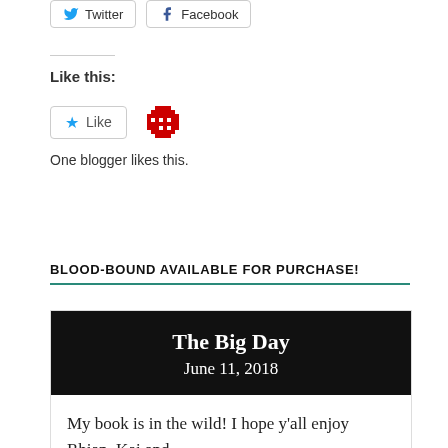[Figure (other): Twitter and Facebook share buttons]
Like this:
[Figure (other): Like button with blue star icon and a red pixel-art blogger avatar. One blogger likes this.]
One blogger likes this.
BLOOD-BOUND AVAILABLE FOR PURCHASE!
[Figure (other): Blog post card with black header showing title 'The Big Day' and date 'June 11, 2018', and body text beginning 'My book is in the wild! I hope y'all enjoy Rhian, Kai and Lynn as much as I do. :)']